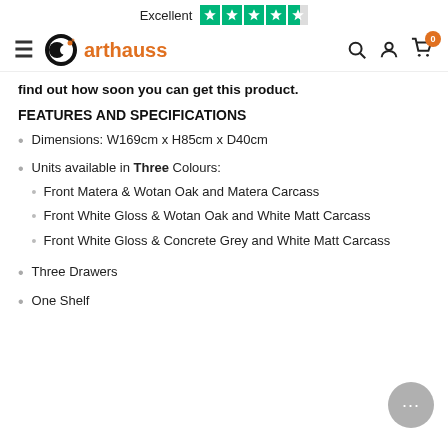Excellent [Trustpilot 4.5 stars] | arthauss [logo] [hamburger] [search] [account] [cart 0]
find out how soon you can get this product.
FEATURES AND SPECIFICATIONS
Dimensions: W169cm x H85cm x D40cm
Units available in Three Colours:
Front Matera & Wotan Oak and Matera Carcass
Front White Gloss & Wotan Oak and White Matt Carcass
Front White Gloss & Concrete Grey and White Matt Carcass
Three Drawers
One Shelf